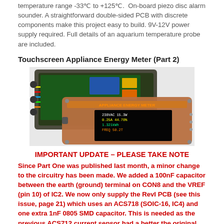temperature range -33°C to +125°C.  On-board piezo disc alarm sounder. A straightforward double-sided PCB with discrete components make this project easy to build. 9V-12V power supply required. Full details of an aquarium temperature probe are included.
Touchscreen Appliance Energy Meter (Part 2)
[Figure (photo): Photo of the Touchscreen Appliance Energy Meter device showing PCB internals and the front panel with orange/black OLED display showing energy readings.]
IMPORTANT UPDATE – PLEASE TAKE NOTE
Since Part One was published last month, a minor change to the circuitry has been made. We added a 100nF capacitor between the earth (ground) terminal on CON8 and the VREF (pin 10) of IC2. We now only supply the RevI PCB (see this issue, page 21) which uses an ACS718 (SOIC-16, IC4) and one extra 1nF 0805 SMD capacitor. This is needed as the previous ACS712 current sensor had a better the original circuitry and data on that board.